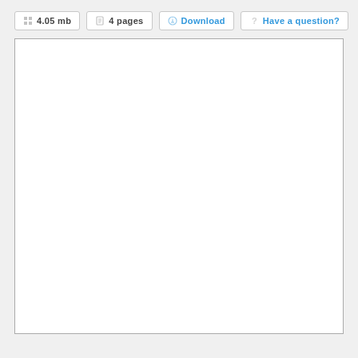4.05 mb  |  4 pages  |  Download  |  Have a question?
[Figure (other): Blank white document page preview area with a light gray border]